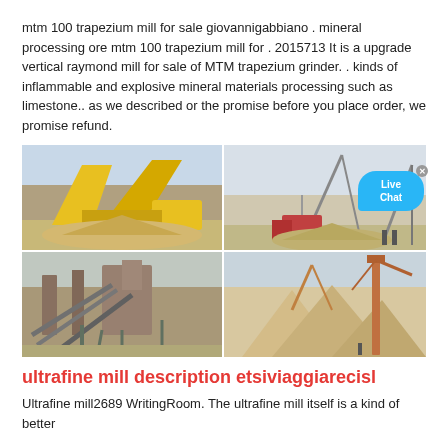mtm 100 trapezium mill for sale giovannigabbiano . mineral processing ore mtm 100 trapezium mill for . 2015713 It is a upgrade vertical raymond mill for sale of MTM trapezium grinder. . kinds of inflammable and explosive mineral materials processing such as limestone.. as we described or the promise before you place order, we promise refund.
[Figure (photo): Four photos of mining/mineral processing equipment and machinery at industrial sites, including conveyor belts, crushing equipment, and stockpiles of aggregate material. A 'Live Chat' bubble overlay appears on the top-right image.]
ultrafine mill description etsiviaggiarecisl
Ultrafine mill2689 WritingRoom. The ultrafine mill itself is a kind of better